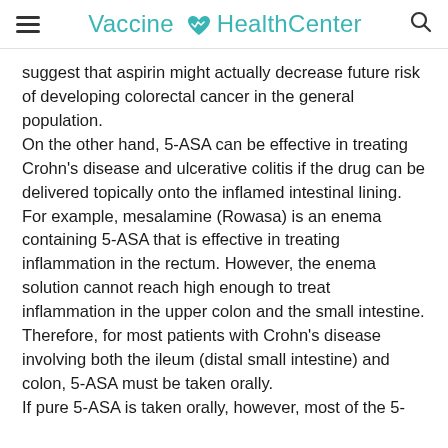Vaccine HealthCenter
suggest that aspirin might actually decrease future risk of developing colorectal cancer in the general population.
On the other hand, 5-ASA can be effective in treating Crohn's disease and ulcerative colitis if the drug can be delivered topically onto the inflamed intestinal lining. For example, mesalamine (Rowasa) is an enema containing 5-ASA that is effective in treating inflammation in the rectum. However, the enema solution cannot reach high enough to treat inflammation in the upper colon and the small intestine. Therefore, for most patients with Crohn's disease involving both the ileum (distal small intestine) and colon, 5-ASA must be taken orally.
If pure 5-ASA is taken orally, however, most of the 5-